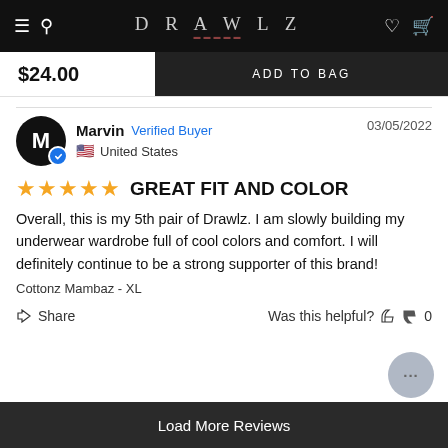DRAWLZ
$24.00  ADD TO BAG
Marvin   Verified Buyer   03/05/2022
United States
GREAT FIT AND COLOR
Overall, this is my 5th pair of Drawlz. I am slowly building my underwear wardrobe full of cool colors and comfort. I will definitely continue to be a strong supporter of this brand!
Cottonz Mambaz  - XL
Share   Was this helpful?   0
Load More Reviews